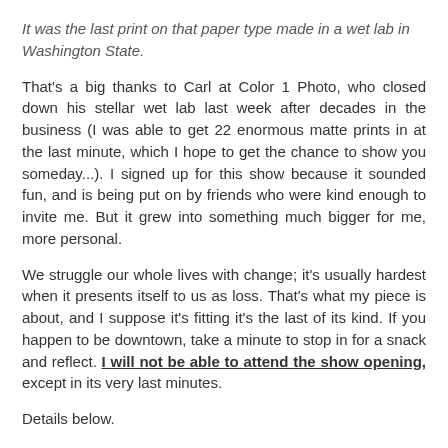It was the last print on that paper type made in a wet lab in Washington State.
That's a big thanks to Carl at Color 1 Photo, who closed down his stellar wet lab last week after decades in the business (I was able to get 22 enormous matte prints in at the last minute, which I hope to get the chance to show you someday...). I signed up for this show because it sounded fun, and is being put on by friends who were kind enough to invite me. But it grew into something much bigger for me, more personal.
We struggle our whole lives with change; it's usually hardest when it presents itself to us as loss. That's what my piece is about, and I suppose it's fitting it's the last of its kind. If you happen to be downtown, take a minute to stop in for a snack and reflect. I will not be able to attend the show opening, except in its very last minutes.
Details below.